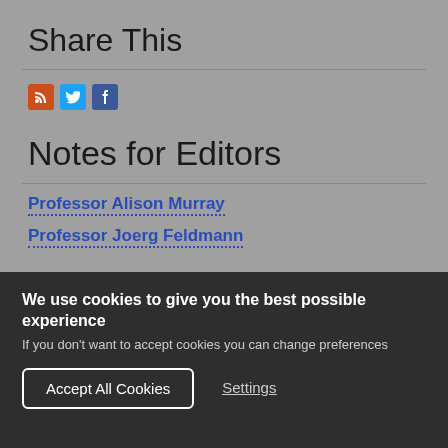Share This
[Figure (infographic): Social share icons: RSS (orange), Twitter (blue), Facebook (dark blue)]
Notes for Editors
Professor Alison Murray
Professor Joerg Feldmann
We use cookies to give you the best possible experience
If you don't want to accept cookies you can change preferences
Accept All Cookies
Settings